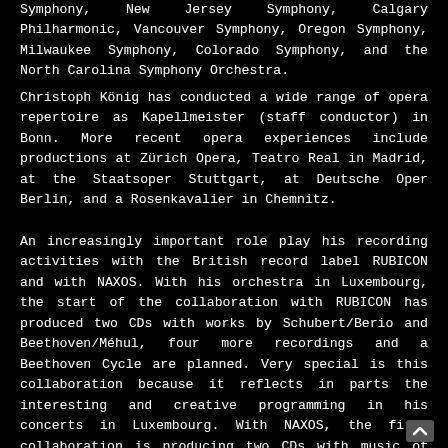Symphony, New Jersey Symphony, Calgary Philharmonic, Vancouver Symphony, Oregon Symphony, Milwaukee Symphony, Colorado Symphony, and the North Carolina Symphony Orchestra.
Christoph König has conducted a wide range of opera repertoire as Kapellmeister (staff conductor) in Bonn. More recent opera experiences include productions at Zürich Opera, Teatro Real in Madrid, at the Staatsoper Stuttgart, at Deutsche Oper Berlin, and a Rosenkavalier in Chemnitz.
An increasingly important role play his recording activities with the British record label RUBICON and with NAXOS. With his orchestra in Luxembourg, the start of the collaboration with RUBICON has produced two CDs with works by Schubert/Berio and Beethoven/Méhul, four more recordings and a Beethoven Cycle are planned. Very special is this collaboration because it reflects in parts the interesting and creative programming in his concerts in Luxembourg. With NAXOS, the first collaboration is producing two CDs with music of Louise Farrenc, a third one is already planned. Other CD recordings include Melcer with the BBC Scottish Symphony Orchestra (HYPERION), Beethoven Symphonies with the Malmö Symphony Orchestra (DR Productions).